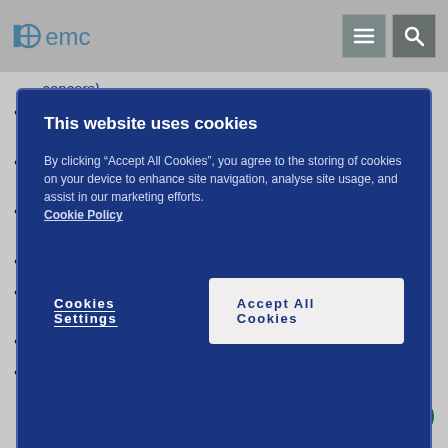emc
This website uses cookies
By clicking “Accept All Cookies”, you agree to the storing of cookies on your device to enhance site navigation, analyse site usage, and assist in our marketing efforts. Cookie Policy
Cookies Settings | Accept All Cookies
cancers)
Ciclosporin and tacrolimus (medicines for some types of inflammation and after organ transplants)
Quinolone antibiotics (medicines used to treat some infections)
Steroids (medicines for inflammation and for treating immune system problems)
Colestipol (a medicine used to reduce cholesterol)
Cholestyramine (a medicine used to treat liver problems and Crohn’s disease)
Sulfinpyrazone (a medicine used to treat gout)
Voriconazole (a medicine used to treat fungal infect…